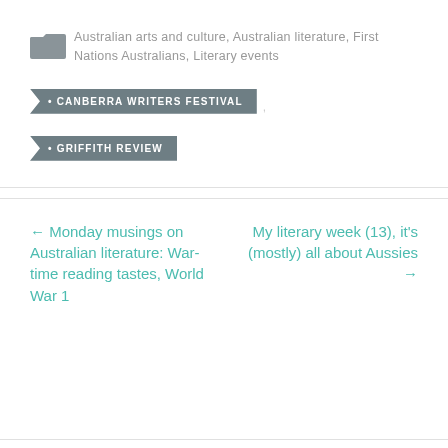Australian arts and culture, Australian literature, First Nations Australians, Literary events
CANBERRA WRITERS FESTIVAL
GRIFFITH REVIEW
← Monday musings on Australian literature: War-time reading tastes, World War 1
My literary week (13), it's (mostly) all about Aussies →